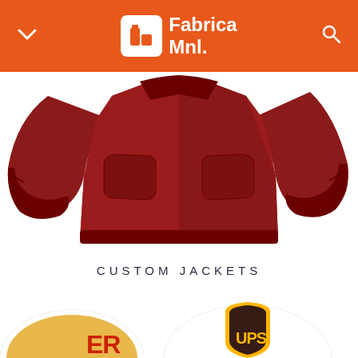Fabrica Mnl.
[Figure (photo): Red custom bomber jacket laid flat on a white background, showing both sleeves spread out, zipper in center, ribbed cuffs and hem, with side pockets visible.]
CUSTOM JACKETS
[Figure (photo): Bottom of page showing two round logo patches/buttons: one partially visible orange/yellow design on the left edge, and one white oval with the UPS shield logo in yellow and brown on the right.]